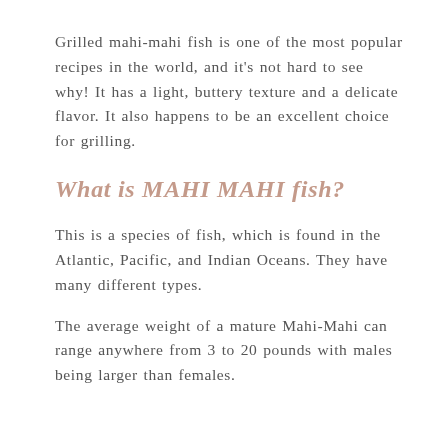Grilled mahi-mahi fish is one of the most popular recipes in the world, and it's not hard to see why! It has a light, buttery texture and a delicate flavor. It also happens to be an excellent choice for grilling.
What is MAHI MAHI fish?
This is a species of fish, which is found in the Atlantic, Pacific, and Indian Oceans. They have many different types.
The average weight of a mature Mahi-Mahi can range anywhere from 3 to 20 pounds with males being larger than females.